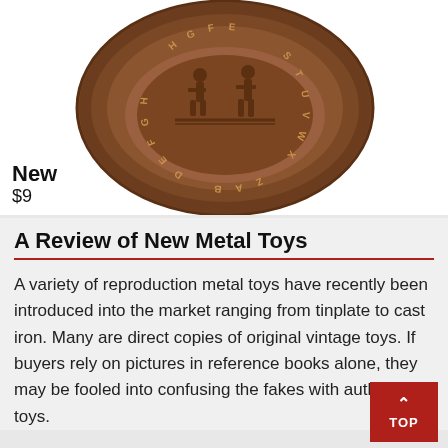[Figure (photo): A bronze/copper colored round coin or medallion with raised alphabet letters around the rim and two figures in the center, photographed up close. Labeled 'New' and '$9' in the lower left of the image area.]
A Review of New Metal Toys
A variety of reproduction metal toys have recently been introduced into the market ranging from tinplate to cast iron. Many are direct copies of original vintage toys. If buyers rely on pictures in reference books alone, they may be fooled into confusing the fakes with authentic toys.